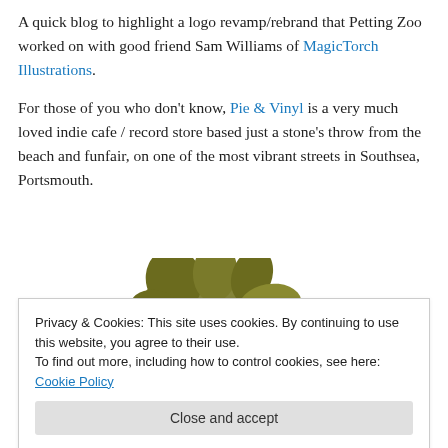A quick blog to highlight a logo revamp/rebrand that Petting Zoo worked on with good friend Sam Williams of MagicTorch Illustrations.
For those of you who don't know, Pie & Vinyl is a very much loved indie cafe / record store based just a stone's throw from the beach and funfair, on one of the most vibrant streets in Southsea, Portsmouth.
[Figure (illustration): Partial illustration of a stylized bird or animal figure in olive/dark yellow-green color, partially visible behind the cookie banner]
Privacy & Cookies: This site uses cookies. By continuing to use this website, you agree to their use.
To find out more, including how to control cookies, see here: Cookie Policy